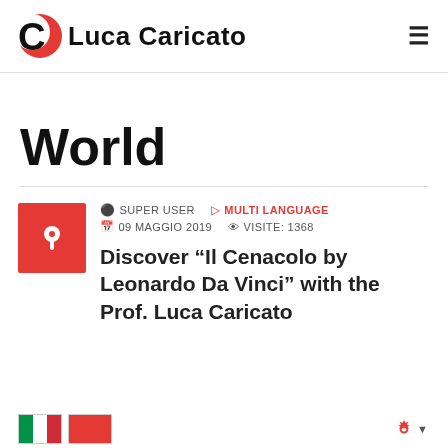Luca Caricato
World
SUPER USER   MULTI LANGUAGE   09 MAGGIO 2019   VISITE: 1368
Discover “Il Cenacolo by Leonardo Da Vinci” with the Prof. Luca Caricato
[Figure (other): Italian flag and red flag icons at bottom, with settings gear icon]